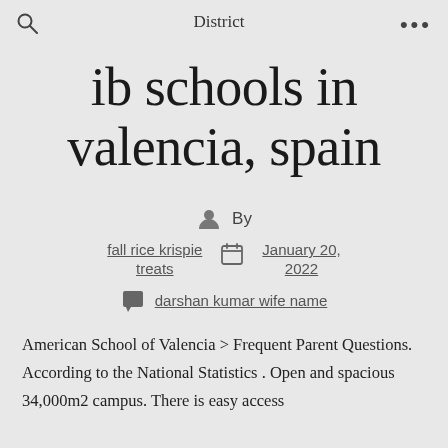District
ib schools in valencia, spain
By
fall rice krispie treats   January 20, 2022
darshan kumar wife name
American School of Valencia > Frequent Parent Questions. According to the National Statistics . Open and spacious 34,000m2 campus. There is easy access